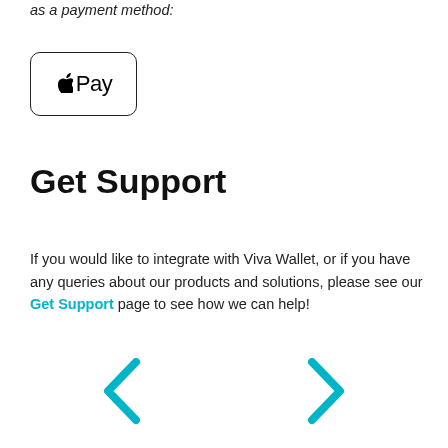as a payment method:
[Figure (logo): Apple Pay logo button — rounded rectangle with Apple logo and 'Pay' text]
Get Support
If you would like to integrate with Viva Wallet, or if you have any queries about our products and solutions, please see our Get Support page to see how we can help!
[Figure (other): Navigation arrows: left chevron and right chevron in teal color]